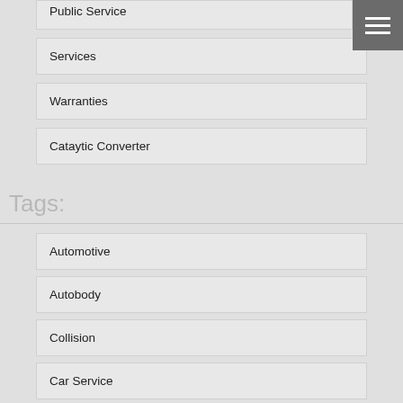Public Service
Services
Warranties
Cataytic Converter
Tags:
Automotive
Autobody
Collision
Car Service